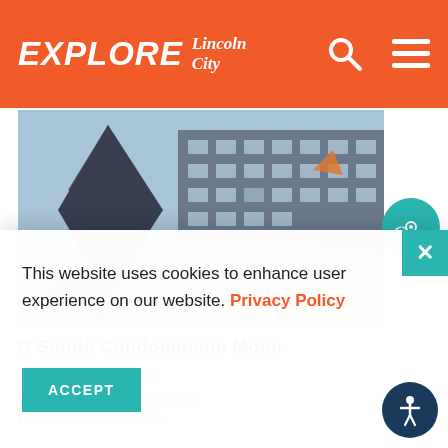EXPLORE Lincoln City
[Figure (photo): Beach scene with large dark kite in foreground and multi-story hotel building in background]
[Figure (other): Teal circular map pin button with code/location icon]
D Sands Condominium Motel
171 SW Highway 101
Lincoln City, Oregon 97367
Phone: 541-994-5244
This website uses cookies to enhance user experience on our website. Privacy Policy
ACCEPT